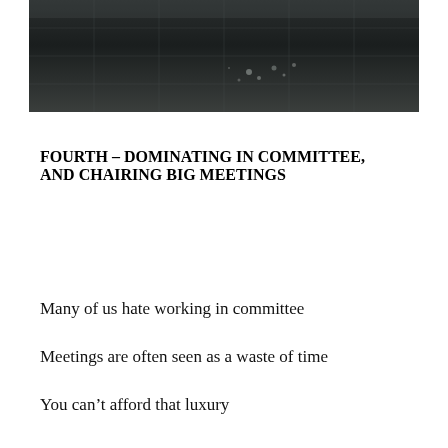[Figure (photo): Dark aerial or overhead photograph showing a textured dark tiled or paved surface]
FOURTH – DOMINATING IN COMMITTEE, AND CHAIRING BIG MEETINGS
Many of us hate working in committee
Meetings are often seen as a waste of time
You can't afford that luxury